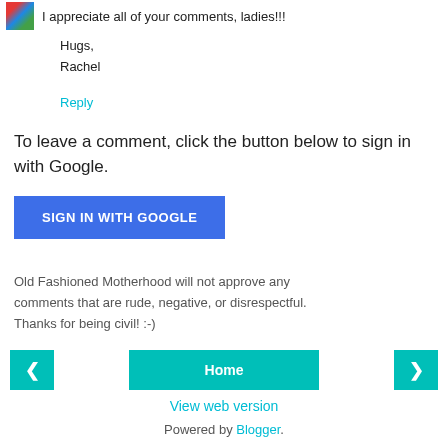I appreciate all of your comments, ladies!!!
Hugs,
Rachel
Reply
To leave a comment, click the button below to sign in with Google.
SIGN IN WITH GOOGLE
Old Fashioned Motherhood will not approve any comments that are rude, negative, or disrespectful. Thanks for being civil! :-)
< (previous) | Home | > (next)
View web version
Powered by Blogger.